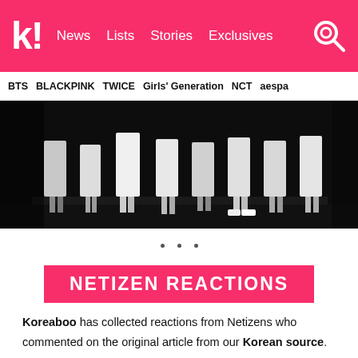k! News Lists Stories Exclusives
BTS BLACKPINK TWICE Girls' Generation NCT aespa
[Figure (photo): Group of people standing on a dark stage, shot from waist-down, wearing jeans and casual clothes]
NETIZEN REACTIONS
Koreaboo has collected reactions from Netizens who commented on the original article from our Korean source. The below comments are the most popular comments at the time of this article being published.